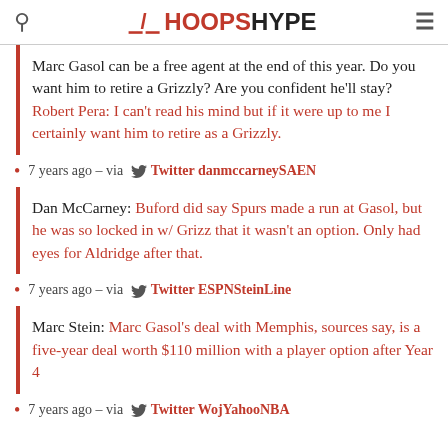HoopsHype
Marc Gasol can be a free agent at the end of this year. Do you want him to retire a Grizzly? Are you confident he'll stay? Robert Pera: I can't read his mind but if it were up to me I certainly want him to retire as a Grizzly.
7 years ago – via Twitter danmccarneySAEN
Dan McCarney: Buford did say Spurs made a run at Gasol, but he was so locked in w/ Grizz that it wasn't an option. Only had eyes for Aldridge after that.
7 years ago – via Twitter ESPNSteinLine
Marc Stein: Marc Gasol's deal with Memphis, sources say, is a five-year deal worth $110 million with a player option after Year 4
7 years ago – via Twitter WojYahooNBA